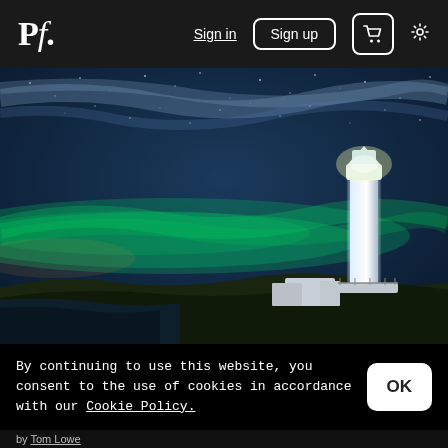Pf. | Sign in | Sign up | [cart] [settings]
[Figure (photo): Night photograph of a lighthouse on a rocky island with aurora borealis (northern lights) glowing green in the sky, stars visible, clouds streaking above.]
By continuing to use this website, you consent to the use of cookies in accordance with our Cookie Policy.
by Tom Lowe